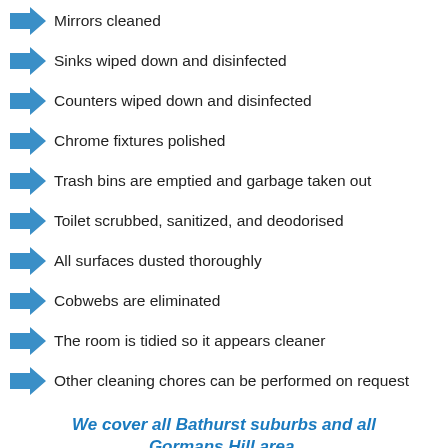Mirrors cleaned
Sinks wiped down and disinfected
Counters wiped down and disinfected
Chrome fixtures polished
Trash bins are emptied and garbage taken out
Toilet scrubbed, sanitized, and deodorised
All surfaces dusted thoroughly
Cobwebs are eliminated
The room is tidied so it appears cleaner
Other cleaning chores can be performed on request
We cover all Bathurst suburbs and all Gormans Hill area.
Frequently Asked Questions
Q: How often can I arrange for Regular Domestic Residential Cleaning services from End Of Lease Cleaning?
Q: Is there a minimum of visits required for the